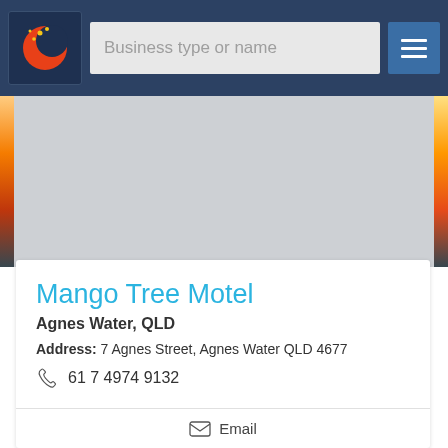[Figure (screenshot): Navigation bar with logo, search box labeled 'Business type or name', and hamburger menu button]
[Figure (photo): Landscape background photo showing a sunset scene, with grey overlay in center and orange/sunset strips on left and right edges]
Mango Tree Motel
Agnes Water, QLD
Address: 7 Agnes Street, Agnes Water QLD 4677
61 7 4974 9132